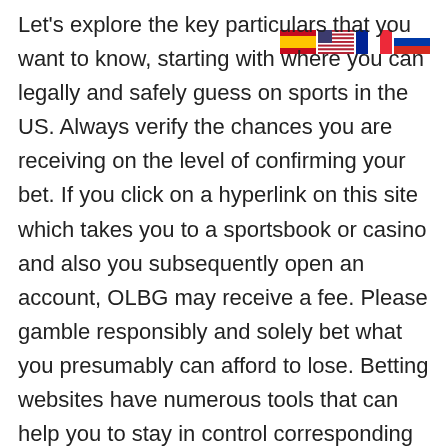[Figure (other): Four country flag icons in a row: Spain, USA, France, Russia]
Let's explore the key particulars that you want to know, starting with where you can legally and safely guess on sports in the US. Always verify the chances you are receiving on the level of confirming your bet. If you click on a hyperlink on this site which takes you to a sportsbook or casino and also you subsequently open an account, OLBG may receive a fee. Please gamble responsibly and solely bet what you presumably can afford to lose. Betting websites have numerous tools that can help you to stay in control corresponding to deposit limits and time outs.

They additionally take pleasure in betting on international matches and other well-liked leagues such because the English Premier League and La